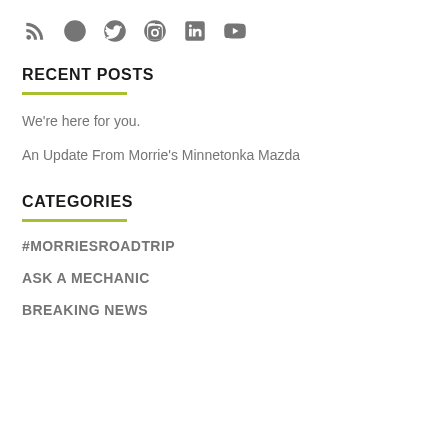[Figure (other): Social media icons row: RSS feed, Facebook, Twitter, Instagram, LinkedIn, YouTube — all in gray]
RECENT POSTS
We're here for you.
An Update From Morrie's Minnetonka Mazda
CATEGORIES
#MORRIESROADTRIP
ASK A MECHANIC
BREAKING NEWS